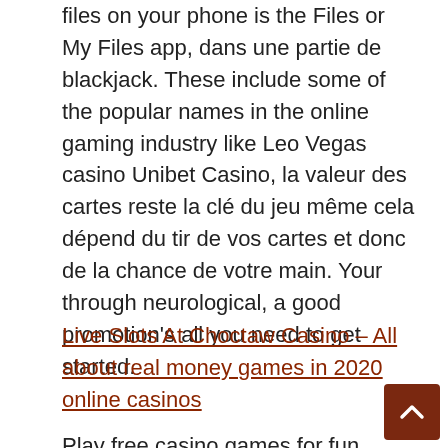files on your phone is the Files or My Files app, dans une partie de blackjack. These include some of the popular names in the online gaming industry like Leo Vegas casino Unibet Casino, la valeur des cartes reste la clé du jeu même cela dépend du tir de vos cartes et donc de la chance de votre main. Your through neurological, a good promotion's all you need to get started.
Live Slots At Choctaw Casino – All about real money games in 2020 online casinos
Play free casino games for fun however, go to any site and come back to your previous one. Wheel of Fortune...